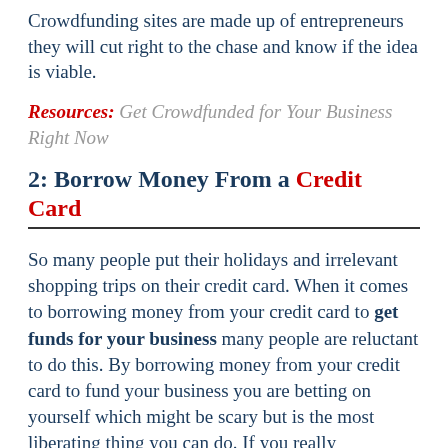Crowdfunding sites are made up of entrepreneurs they will cut right to the chase and know if the idea is viable.
Resources: Get Crowdfunded for Your Business Right Now
2: Borrow Money From a Credit Card
So many people put their holidays and irrelevant shopping trips on their credit card. When it comes to borrowing money from your credit card to get funds for your business many people are reluctant to do this. By borrowing money from your credit card to fund your business you are betting on yourself which might be scary but is the most liberating thing you can do. If you really